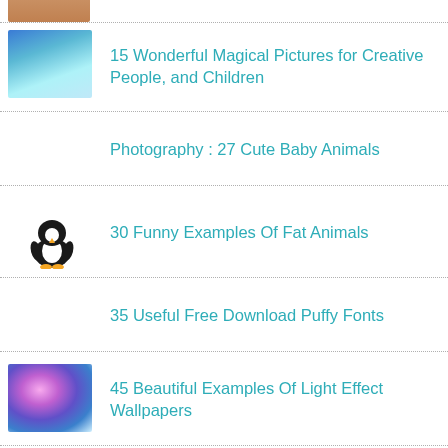[Figure (photo): Partial cropped thumbnail at top of page]
15 Wonderful Magical Pictures for Creative People, and Children
Photography : 27 Cute Baby Animals
30 Funny Examples Of Fat Animals
35 Useful Free Download Puffy Fonts
45 Beautiful Examples Of Light Effect Wallpapers
Best Barbie Font for your next project
How to Hire Staff Who Will Stay